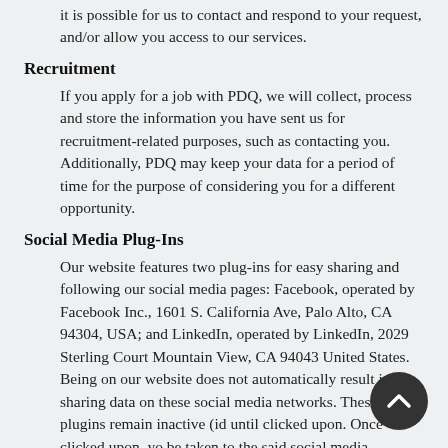it is possible for us to contact and respond to your request, and/or allow you access to our services.
Recruitment
If you apply for a job with PDQ, we will collect, process and store the information you have sent us for recruitment-related purposes, such as contacting you. Additionally, PDQ may keep your data for a period of time for the purpose of considering you for a different opportunity.
Social Media Plug-Ins
Our website features two plug-ins for easy sharing and following our social media pages: Facebook, operated by Facebook Inc., 1601 S. California Ave, Palo Alto, CA 94304, USA; and LinkedIn, operated by LinkedIn, 2029 Sterling Court Mountain View, CA 94043 United States. Being on our website does not automatically result in sharing data on these social media networks. These plugins remain inactive (id until clicked upon. Once clicked upon, yo be taken to the said social media networks their own specific privacy policies you are